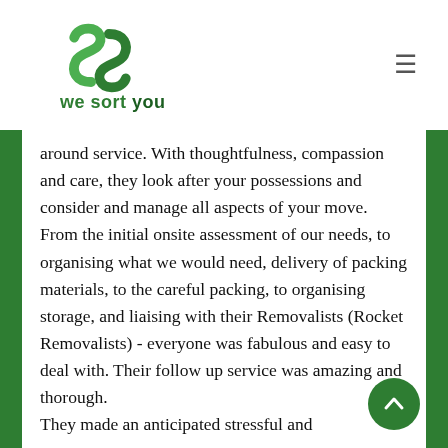[Figure (logo): We Sort You logo — green stylized S icon above the text 'we sort you' in green bold font]
around service. With thoughtfulness, compassion and care, they look after your possessions and consider and manage all aspects of your move.
From the initial onsite assessment of our needs, to organising what we would need, delivery of packing materials, to the careful packing, to organising storage, and liaising with their Removalists (Rocket Removalists) - everyone was fabulous and easy to deal with. Their follow up service was amazing and thorough.
They made an anticipated stressful and